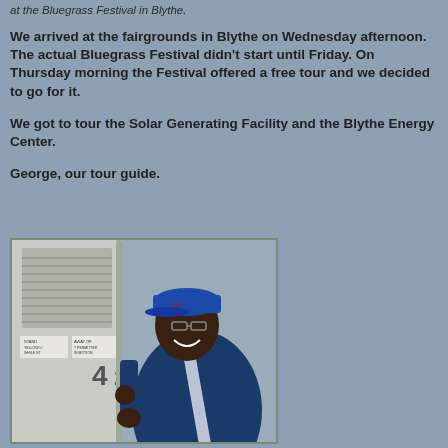at the Bluegrass Festival in Blythe.
We arrived at the fairgrounds in Blythe on Wednesday afternoon. The actual Bluegrass Festival didn't start until Friday. On Thursday morning the Festival offered a free tour and we decided to go for it.
We got to tour the Solar Generating Facility and the Blythe Energy Center.
George, our tour guide.
[Figure (photo): A man (George, the tour guide) wearing a blue cap and blue jacket, smiling and holding a pole, appearing to be on a bus or vehicle interior.]